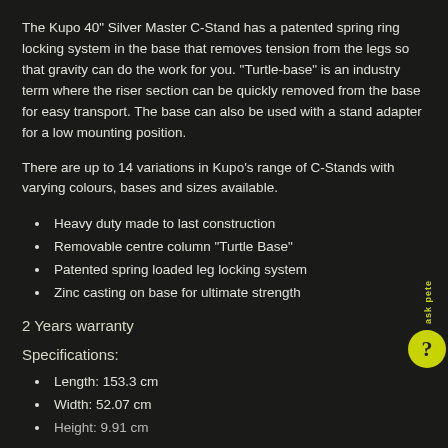The Kupo 40" Silver Master C-Stand has a patented spring ring locking system in the base that removes tension from the legs so that gravity can do the work for you. "Turtle-base" is an industry term where the riser section can be quickly removed from the base for easy transport. The base can also be used with a stand adapter for a low mounting position.
There are up to 14 variations in Kupo's range of C-Stands with varying colours, bases and sizes available.
Heavy duty made to last construction
Removable centre column "Turtle Base"
Patented spring loaded leg locking system
Zinc casting on base for ultimate strength
2 Years warranty
Specifications:
Length: 153.3 cm
Width: 52.07 cm
Height: 9.91 cm